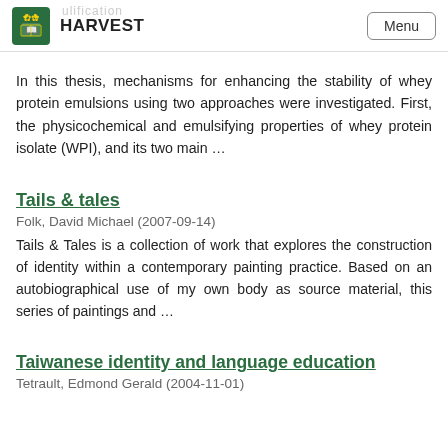HARVEST  Menu
In this thesis, mechanisms for enhancing the stability of whey protein emulsions using two approaches were investigated. First, the physicochemical and emulsifying properties of whey protein isolate (WPI), and its two main ...
Tails & tales
Folk, David Michael (2007-09-14)
Tails & Tales is a collection of work that explores the construction of identity within a contemporary painting practice. Based on an autobiographical use of my own body as source material, this series of paintings and ...
Taiwanese identity and language education
Tetrault, Edmond Gerald (2004-11-01)